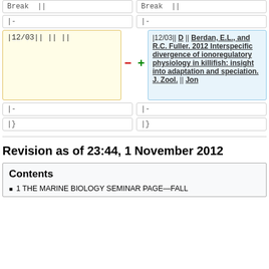Break ||
Break ||
|-
|-
|12/03|| || ||
|12/03|| D || Berdan, E.L., and R.C. Fuller. 2012 Interspecific divergence of ionoregulatory physiology in killifish: insight into adaptation and speciation. J. Zool. || Jon
|-
|-
|}
|}
Revision as of 23:44, 1 November 2012
Contents
1 THE MARINE BIOLOGY SEMINAR PAGE—FALL